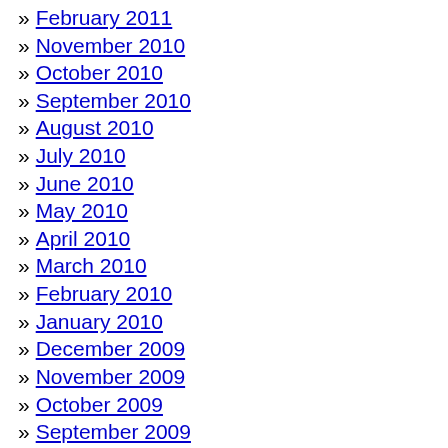» February 2011
» November 2010
» October 2010
» September 2010
» August 2010
» July 2010
» June 2010
» May 2010
» April 2010
» March 2010
» February 2010
» January 2010
» December 2009
» November 2009
» October 2009
» September 2009
» July 2009
» May 2009